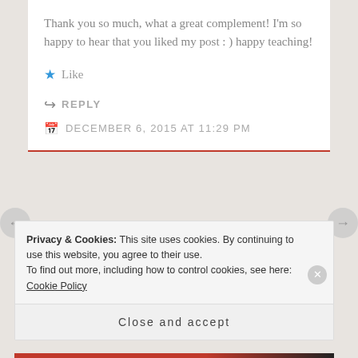Thank you so much, what a great complement! I'm so happy to hear that you liked my post : ) happy teaching!
★ Like
↪ REPLY
DECEMBER 6, 2015 AT 11:29 PM
Privacy & Cookies: This site uses cookies. By continuing to use this website, you agree to their use.
To find out more, including how to control cookies, see here: Cookie Policy
Close and accept